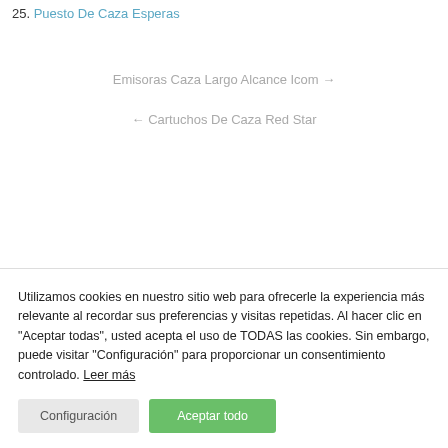25. Puesto De Caza Esperas
Emisoras Caza Largo Alcance Icom →
← Cartuchos De Caza Red Star
Utilizamos cookies en nuestro sitio web para ofrecerle la experiencia más relevante al recordar sus preferencias y visitas repetidas. Al hacer clic en "Aceptar todas", usted acepta el uso de TODAS las cookies. Sin embargo, puede visitar "Configuración" para proporcionar un consentimiento controlado. Leer más
Configuración
Aceptar todo